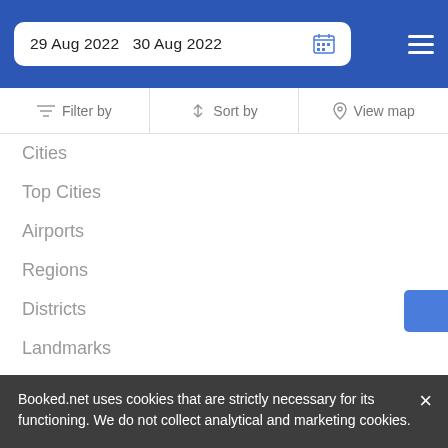29 Aug 2022   30 Aug 2022
Filter by   Sort by   View map
Cities
Top Cities
Airports
Regions
Districts
Landmarks
United States
Canada
Mexico
United Kingdom
Booked.net uses cookies that are strictly necessary for its functioning. We do not collect analytical and marketing cookies.